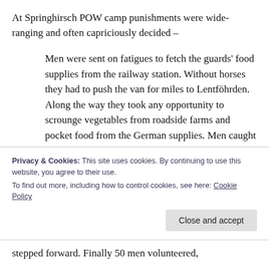At Springhirsch POW camp punishments were wide-ranging and often capriciously decided –
Men were sent on fatigues to fetch the guards' food supplies from the railway station. Without horses they had to push the van for miles to Lentföhrden. Along the way they took any opportunity to scrounge vegetables from roadside farms and pocket food from the German supplies. Men caught stealing guards' bread had their own bread ration withheld for four days.
Privacy & Cookies: This site uses cookies. By continuing to use this website, you agree to their use.
To find out more, including how to control cookies, see here: Cookie Policy
stepped forward. Finally 50 men volunteered,